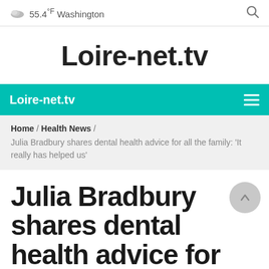55.4°F Washington
Loire-net.tv
Loire-net.tv
Home / Health News / Julia Bradbury shares dental health advice for all the family: 'It really has helped us'
Julia Bradbury shares dental health advice for